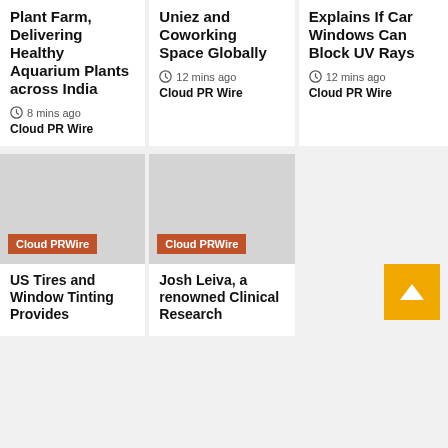Plant Farm, Delivering Healthy Aquarium Plants across India
8 mins ago
Cloud PR Wire
Uniez and Coworking Space Globally
12 mins ago
Cloud PR Wire
Explains If Car Windows Can Block UV Rays
12 mins ago
Cloud PR Wire
[Figure (photo): Image placeholder with Cloud PRWire orange label badge]
US Tires and Window Tinting Provides
[Figure (photo): Image placeholder with Cloud PRWire orange label badge]
Josh Leiva, a renowned Clinical Research